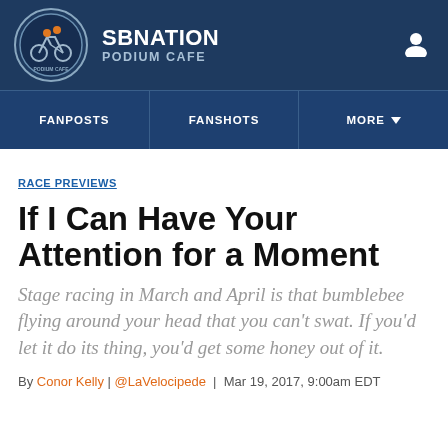SB NATION — PODIUM CAFE
FANPOSTS | FANSHOTS | MORE
RACE PREVIEWS
If I Can Have Your Attention for a Moment
Stage racing in March and April is that bumblebee flying around your head that you can't swat. If you'd let it do its thing, you'd get some honey out of it.
By Conor Kelly | @LaVelocipede | Mar 19, 2017, 9:00am EDT